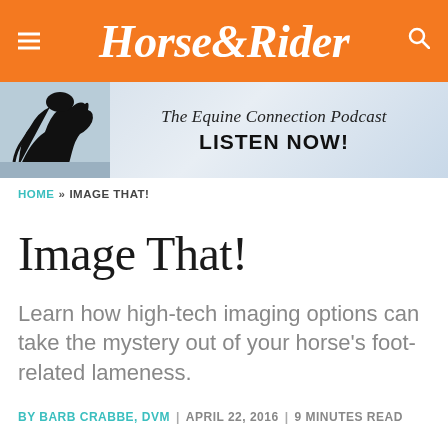Horse&Rider
[Figure (other): The Equine Connection Podcast advertisement banner with horse silhouette, text: 'The Equine Connection Podcast LISTEN NOW!']
HOME » IMAGE THAT!
Image That!
Learn how high-tech imaging options can take the mystery out of your horse's foot-related lameness.
BY BARB CRABBE, DVM | APRIL 22, 2016 | 9 MINUTES READ